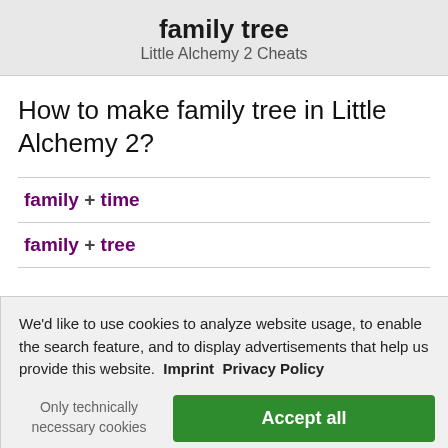family tree
Little Alchemy 2 Cheats
How to make family tree in Little Alchemy 2?
family + time
family + tree
We'd like to use cookies to analyze website usage, to enable the search feature, and to display advertisements that help us provide this website.  Imprint  Privacy Policy
Only technically necessary cookies
Accept all
[Figure (other): Little Alchemy 2 advertisement banner at the bottom with dark red background and orange text]